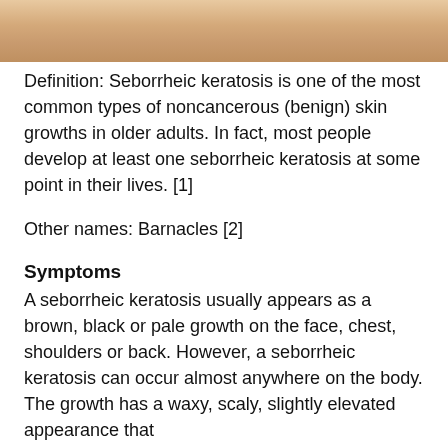[Figure (photo): Close-up photo of skin showing seborrheic keratosis — warm peach/tan skin tone visible at top of page]
Definition: Seborrheic keratosis is one of the most common types of noncancerous (benign) skin growths in older adults. In fact, most people develop at least one seborrheic keratosis at some point in their lives. [1]
Other names: Barnacles [2]
Symptoms
A seborrheic keratosis usually appears as a brown, black or pale growth on the face, chest, shoulders or back. However, a seborrheic keratosis can occur almost anywhere on the body. The growth has a waxy, scaly, slightly elevated appearance that